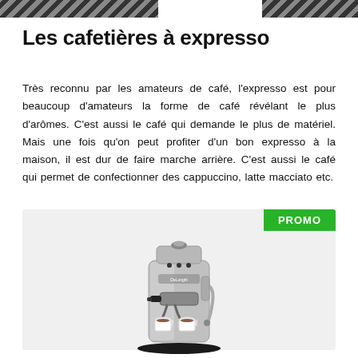Les cafetières à expresso
Très reconnu par les amateurs de café, l'expresso est pour beaucoup d'amateurs la forme de café révélant le plus d'arômes. C'est aussi le café qui demande le plus de matériel. Mais une fois qu'on peut profiter d'un bon expresso à la maison, il est dur de faire marche arrière. C'est aussi le café qui permet de confectionner des cappuccino, latte macciato etc.
[Figure (photo): Silver DeLonghi espresso machine with two espresso cups underneath the portafilter, shown on a light gray background with a green PROMO badge in the top right corner.]